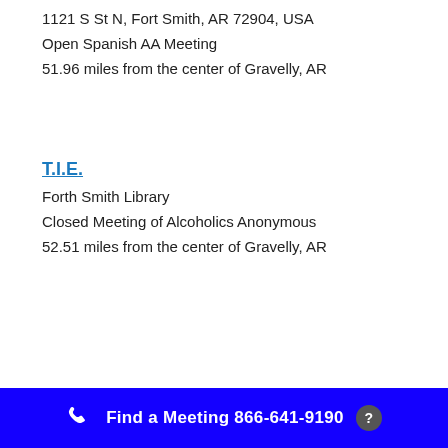1121 S St N, Fort Smith, AR 72904, USA
Open Spanish AA Meeting
51.96 miles from the center of Gravelly, AR
T.I.E.
Forth Smith Library
Closed Meeting of Alcoholics Anonymous
52.51 miles from the center of Gravelly, AR
Find a Meeting  866-641-9190